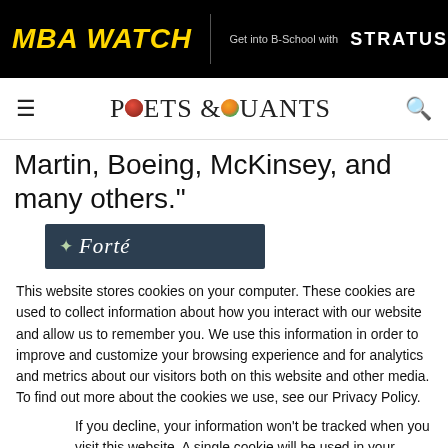MBA WATCH | Get into B-School with STRATUS
[Figure (logo): Poets & Quants logo with hamburger menu and search icon]
Martin, Boeing, McKinsey, and many others."
[Figure (logo): Forte Foundation banner with leaf icon and italic Forte text on dark background]
This website stores cookies on your computer. These cookies are used to collect information about how you interact with our website and allow us to remember you. We use this information in order to improve and customize your browsing experience and for analytics and metrics about our visitors both on this website and other media. To find out more about the cookies we use, see our Privacy Policy.
If you decline, your information won’t be tracked when you visit this website. A single cookie will be used in your browser to remember your preference not to be tracked.